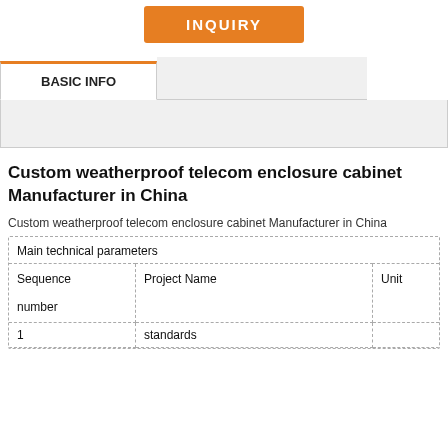[Figure (other): Orange INQUIRY button]
BASIC INFO
Custom weatherproof telecom enclosure cabinet Manufacturer in China
Custom weatherproof telecom enclosure cabinet Manufacturer in China
| Main technical parameters |  |  |
| --- | --- | --- |
| Sequence number | Project Name | Unit |
| 1 | standards |  |